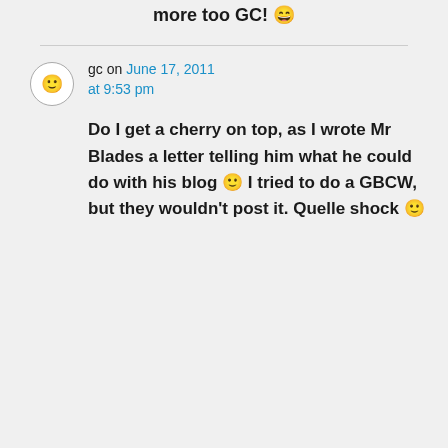more too GC! 😄
gc on June 17, 2011 at 9:53 pm
Do I get a cherry on top, as I wrote Mr Blades a letter telling him what he could do with his blog 🙂 I tried to do a GBCW, but they wouldn't post it. Quelle shock 🙂